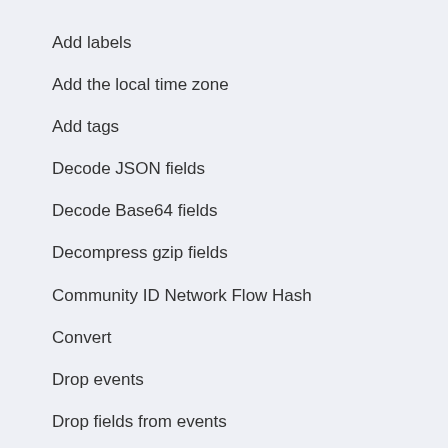Add labels
Add the local time zone
Add tags
Decode JSON fields
Decode Base64 fields
Decompress gzip fields
Community ID Network Flow Hash
Convert
Drop events
Drop fields from events
Extract array
Keep fields from events
Rename fields from events